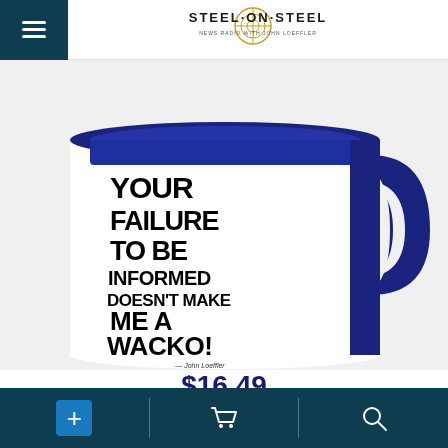Steel on Steel — News Radio with John Loeffler
[Figure (photo): White coffee mug with navy blue interior and handle, printed with bold black text: YOUR FAILURE TO BE INFORMED DOESN'T MAKE ME A WACKO! — John Loeffler, steelonsteel.com]
$16.49
plus shipping